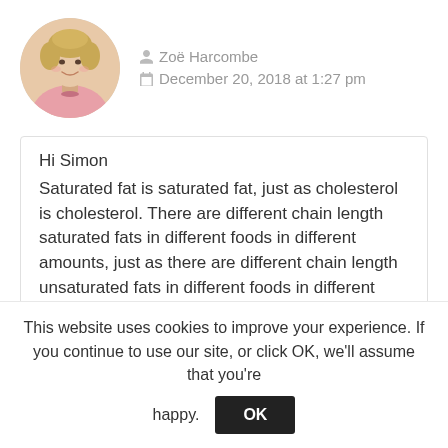[Figure (photo): Circular cropped photo of a woman with short blonde hair wearing a pink top, smiling]
Zoë Harcombe
December 20, 2018 at 1:27 pm
Hi Simon
Saturated fat is saturated fat, just as cholesterol is cholesterol. There are different chain length saturated fats in different foods in different amounts, just as there are different chain length unsaturated fats in different foods in different amounts.
This website uses cookies to improve your experience. If you continue to use our site, or click OK, we'll assume that you're happy.